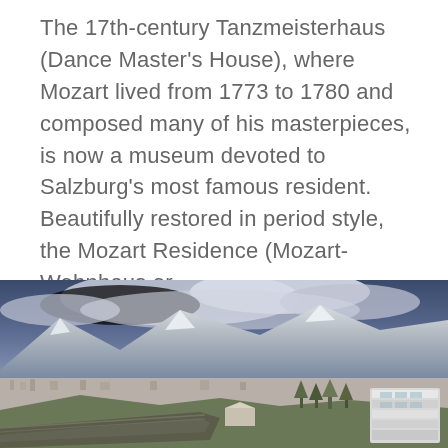The 17th-century Tanzmeisterhaus (Dance Master's House), where Mozart lived from 1773 to 1780 and composed many of his masterpieces, is now a museum devoted to Salzburg's most famous resident. Beautifully restored in period style, the Mozart Residence (Mozart-Wohnhaus or
Learn More
[Figure (photo): Aerial panoramic view of a city (likely Innsbruck) with snow-capped mountains in the background under dramatic cloudy skies. In the foreground is a ski jump facility and a modern white building structure surrounded by trees.]